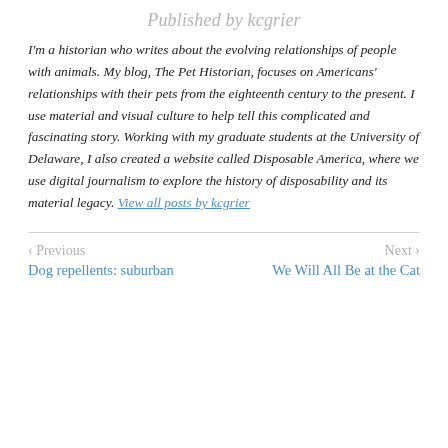Published by kcgrier
I'm a historian who writes about the evolving relationships of people with animals. My blog, The Pet Historian, focuses on Americans' relationships with their pets from the eighteenth century to the present. I use material and visual culture to help tell this complicated and fascinating story. Working with my graduate students at the University of Delaware, I also created a website called Disposable America, where we use digital journalism to explore the history of disposability and its material legacy. View all posts by kcgrier
< Previous | Next > | Dog repellents: suburban | We Will All Be at the Cat